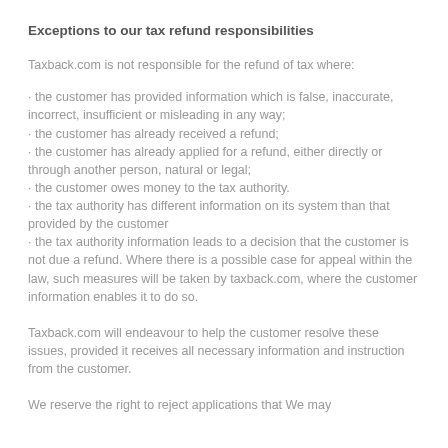Exceptions to our tax refund responsibilities
Taxback.com is not responsible for the refund of tax where:
· the customer has provided information which is false, inaccurate, incorrect, insufficient or misleading in any way;
· the customer has already received a refund;
· the customer has already applied for a refund, either directly or through another person, natural or legal;
· the customer owes money to the tax authority.
· the tax authority has different information on its system than that provided by the customer
· the tax authority information leads to a decision that the customer is not due a refund. Where there is a possible case for appeal within the law, such measures will be taken by taxback.com, where the customer information enables it to do so.
Taxback.com will endeavour to help the customer resolve these issues, provided it receives all necessary information and instruction from the customer.
We reserve the right to reject applications that We may